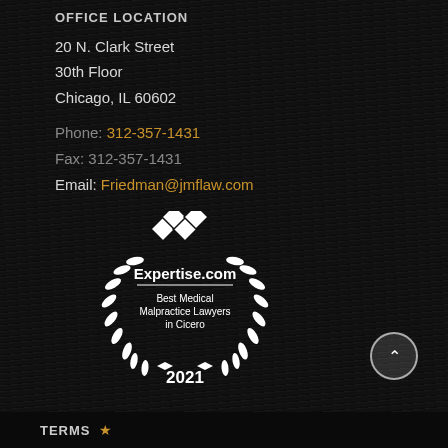OFFICE LOCATION
20 N. Clark Street
30th Floor
Chicago, IL 60602
Phone: 312-357-1431
Fax: 312-357-1431
Email: Friedman@jmflaw.com
[Figure (logo): Expertise.com badge with laurel wreath and diamond logo. Text reads: Expertise.com, Best Medical Malpractice Lawyers in Cicero, 2021]
TERMS ★